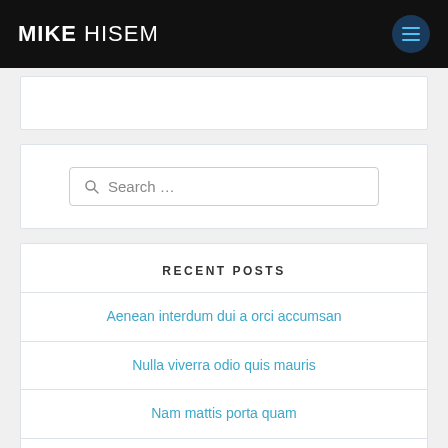MIKE HISEM
[Figure (screenshot): Search bar with placeholder text 'Search ...' and a magnifying glass icon]
RECENT POSTS
Aenean interdum dui a orci accumsan
Nulla viverra odio quis mauris
Nam mattis porta quam
Three things charities need to invest in to be digitally great
What are your fundraisers trying to tell you?